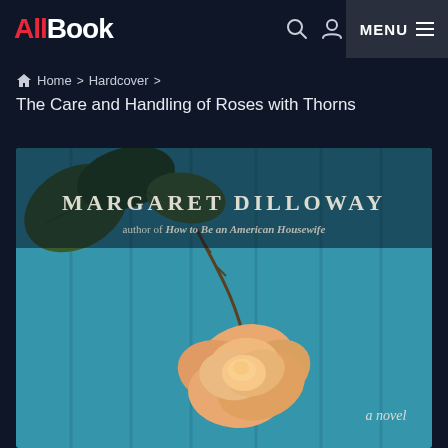AllBook | MENU
Home > Hardcover >
The Care and Handling of Roses with Thorns
[Figure (photo): Book cover of 'The Care and Handling of Roses with Thorns' by Margaret Dilloway, author of How to Be an American Housewife. A novel. Features a peach/orange rose against blue weathered wood planks with green leaves.]